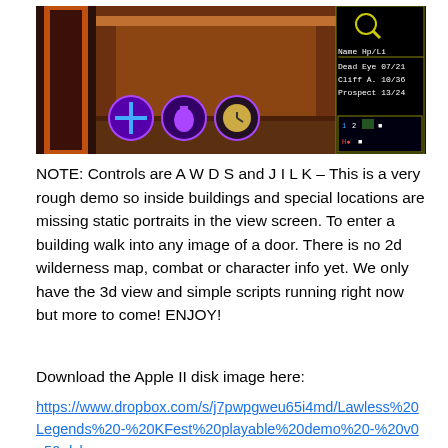[Figure (screenshot): Screenshot of a retro RPG game (Apple II style) showing a 3D view with character icons and a stats panel on the right displaying Name, Hp/Li columns, Dead Eye 07/21, Cliff A. 10/36, Prospect 13/24, and a magnifying glass icon.]
NOTE: Controls are A W D S and J I L K – This is a very rough demo so inside buildings and special locations are missing static portraits in the view screen. To enter a building walk into any image of a door. There is no 2d wilderness map, combat or character info yet. We only have the 3d view and simple scripts running right now but more to come! ENJOY!
Download the Apple II disk image here:
https://www.dropbox.com/s/j7pwpgweu65i4md/Lawless%20Legends%20-%20KFest%20playable%20demo%20-%20v0_50.dsk